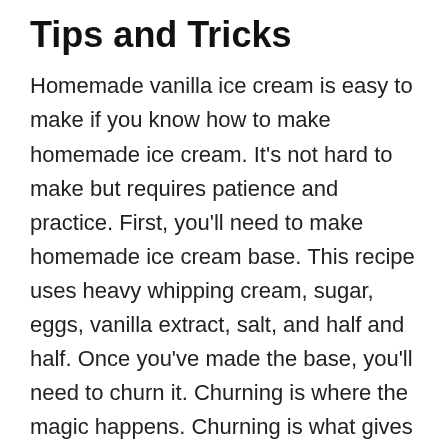Tips and Tricks
Homemade vanilla ice cream is easy to make if you know how to make homemade ice cream. It's not hard to make but requires patience and practice. First, you'll need to make homemade ice cream base. This recipe uses heavy whipping cream, sugar, eggs, vanilla extract, salt, and half and half. Once you've made the base, you'll need to churn it. Churning is where the magic happens. Churning is what gives homemade ice cream its smooth texture. To make homemade vanilla ice cream, you'll first need to make the base. In a medium saucepan, combine the heavy whipping cream, sugar and half and half. Bring the mixture to a boil over medium heat. Remove from heat and add the eggs, one at a time, whisking well after